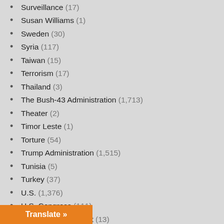Surveillance (17)
Susan Williams (1)
Sweden (30)
Syria (117)
Taiwan (15)
Terrorism (17)
Thailand (3)
The Bush-43 Administration (1,713)
Theater (2)
Timor Leste (1)
Torture (54)
Trump Administration (1,515)
Tunisia (5)
Turkey (37)
U.S. (1,376)
U.S. Congress (111)
U.S. Supreme Courrt (13)
Ukraine (324)
...d (110)
...Emirates (37)